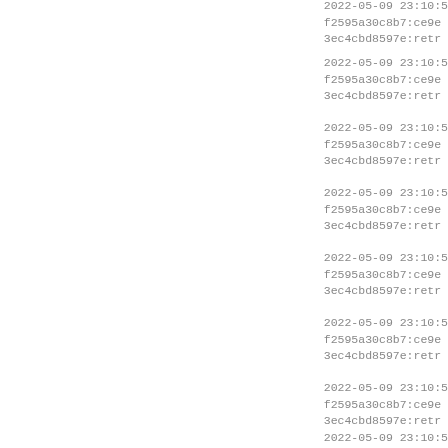2022-05-09 23:10:5 f2595a30c8b7:ce9e 3ec4cbd8597e:retr
2022-05-09 23:10:5 f2595a30c8b7:ce9e 3ec4cbd8597e:retr
2022-05-09 23:10:5 f2595a30c8b7:ce9e 3ec4cbd8597e:retr
2022-05-09 23:10:5 f2595a30c8b7:ce9e 3ec4cbd8597e:retr
2022-05-09 23:10:5 f2595a30c8b7:ce9e 3ec4cbd8597e:retr
2022-05-09 23:10:5 f2595a30c8b7:ce9e 3ec4cbd8597e:retr
2022-05-09 23:10:5